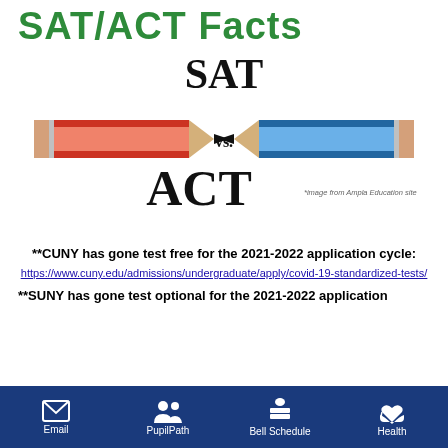SAT/ACT Facts
[Figure (illustration): SAT vs ACT graphic with two pencils pointing toward each other — a red pencil on the left and a blue pencil on the right — with 'SAT' written above, 'vs.' in the middle, and 'ACT' written below. Small text reads '*image from Ampla Education site'.]
**CUNY has gone test free for the 2021-2022 application cycle:
https://www.cuny.edu/admissions/undergraduate/apply/covid-19-standardized-tests/
**SUNY has gone test optional for the 2021-2022 application cycle:
Email  PupilPath  Bell Schedule  Health